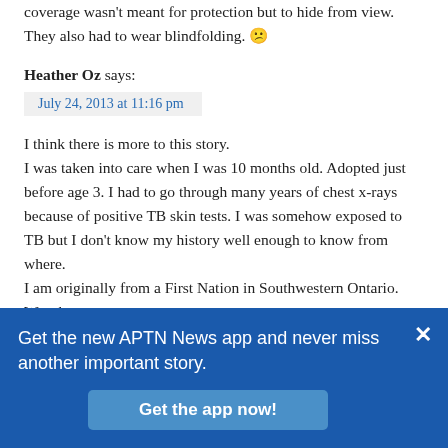coverage wasn't meant for protection but to hide from view. They also had to wear blindfolding. 😕
Heather Oz says:
July 24, 2013 at 11:16 pm
I think there is more to this story.
I was taken into care when I was 10 months old. Adopted just before age 3. I had to go through many years of chest x-rays because of positive TB skin tests. I was somehow exposed to TB but I don't know my history well enough to know from where.
I am originally from a First Nation in Southwestern Ontario. Was there
Get the new APTN News app and never miss another important story.
Get the app now!